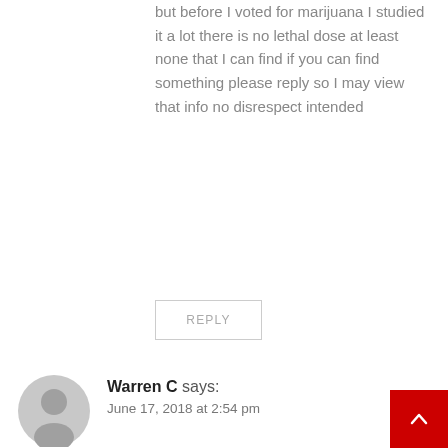but before I voted for marijuana I studied it a lot there is no lethal dose at least none that I can find if you can find something please reply so I may view that info no disrespect intended
REPLY
Warren C says:
June 17, 2018 at 2:54 pm
Could the AMA be trying to get the spotlight off of the opioid epidemic that their members are the key to fostering, or maybe it is the number of deaths caused by the “mis-management” of care in hospitals that is causing them to duck for cover.